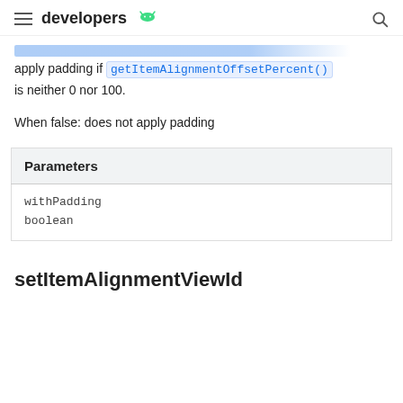developers
apply padding if getItemAlignmentOffsetPercent() is neither 0 nor 100.
When false: does not apply padding
| Parameters |
| --- |
| withPadding | boolean |
setItemAlignmentViewId